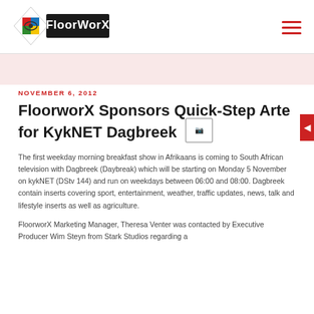[Figure (logo): FloorworX logo with diamond shape and colorful eye graphic on left, FloorworX text on black background on right]
NOVEMBER 6, 2012
FloorworX Sponsors Quick-Step Arte for KykNET Dagbreek
The first weekday morning breakfast show in Afrikaans is coming to South African television with Dagbreek (Daybreak) which will be starting on Monday 5 November on kykNET (DStv 144) and run on weekdays between 06:00 and 08:00. Dagbreek contain inserts covering sport, entertainment, weather, traffic updates, news, talk and lifestyle inserts as well as agriculture.
FloorworX Marketing Manager, Theresa Venter was contacted by Executive Producer Wim Steyn from Stark Studios regarding a